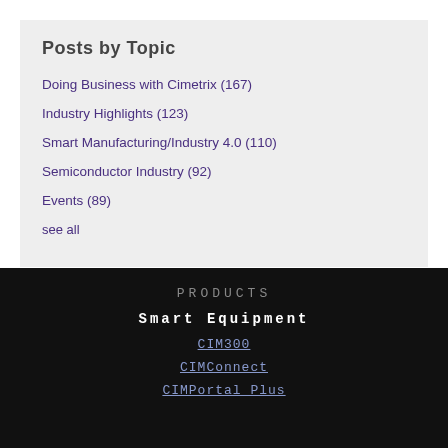Posts by Topic
Doing Business with Cimetrix (167)
Industry Highlights (123)
Smart Manufacturing/Industry 4.0 (110)
Semiconductor Industry (92)
Events (89)
see all
PRODUCTS
Smart Equipment
CIM300
CIMConnect
CIMPortal Plus